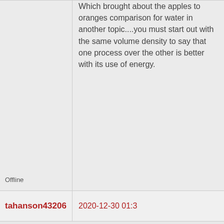Which brought about the apples to oranges comparison for water in another topic....you must start out with the same volume density to say that one process over the other is better with its use of energy.
Offline
tahanson43206
2020-12-30 01:3